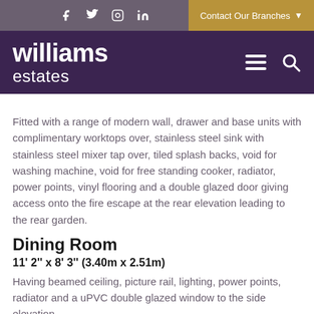williams estates — Contact Our Branches
Fitted with a range of modern wall, drawer and base units with complimentary worktops over, stainless steel sink with stainless steel mixer tap over, tiled splash backs, void for washing machine, void for free standing cooker, radiator, power points, vinyl flooring and a double glazed door giving access onto the fire escape at the rear elevation leading to the rear garden.
Dining Room
11' 2'' x 8' 3'' (3.40m x 2.51m)
Having beamed ceiling, picture rail, lighting, power points, radiator and a uPVC double glazed window to the side elevation.
Bedroom One